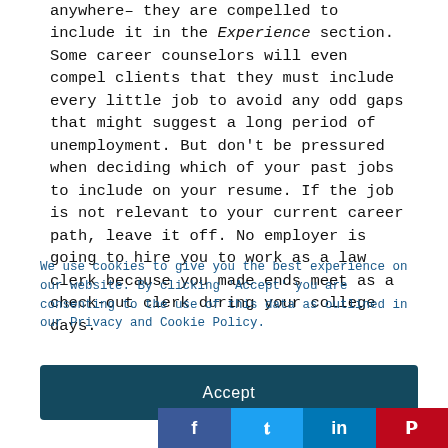anywhere– they are compelled to include it in the Experience section. Some career counselors will even compel clients that they must include every little job to avoid any odd gaps that might suggest a long period of unemployment. But don't be pressured when deciding which of your past jobs to include on your resume. If the job is not relevant to your current career path, leave it off. No employer is going to hire you to work as a law clerk because you made ends meet as a check-out clerk during your college days.
We use cookies to give you the best experience on our website. By clicking 'Accept' you are consenting to the use of this data as outlined in our Privacy and Cookie Policy.